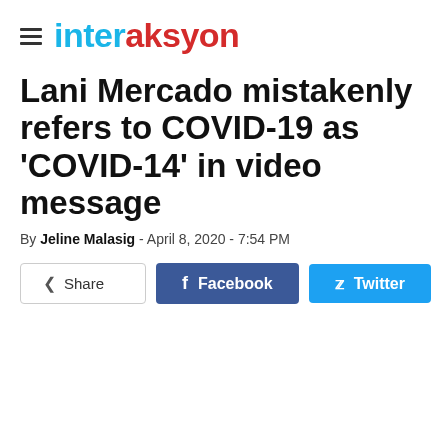interaksyon
Lani Mercado mistakenly refers to COVID-19 as 'COVID-14' in video message
By Jeline Malasig - April 8, 2020 - 7:54 PM